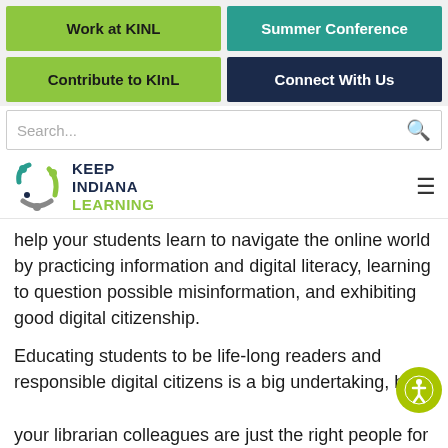[Figure (screenshot): Navigation buttons grid: Work at KINL (green), Summer Conference (teal), Contribute to KInL (green), Connect With Us (navy)]
[Figure (screenshot): Search bar with placeholder text 'Search...' and magnifying glass icon]
[Figure (logo): Keep Indiana Learning logo with colorful circular icon and text KEEP INDIANA LEARNING]
help your students learn to navigate the online world by practicing information and digital literacy, learning to question possible misinformation, and exhibiting good digital citizenship.
Educating students to be life-long readers and responsible digital citizens is a big undertaking, but your librarian colleagues are just the right people for the job! Here are some ways you can utilize your